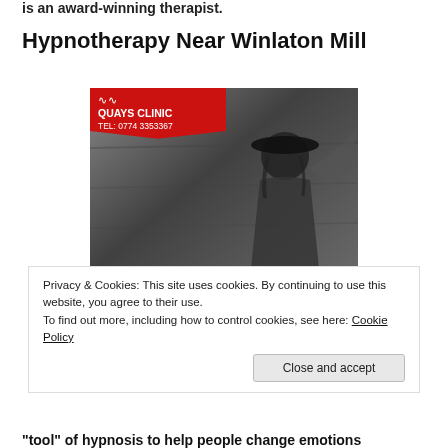is an award-winning therapist.
Hypnotherapy Near Winlaton Mill
[Figure (photo): Black and white promotional image for Quays Clinic showing a woman wearing a hat, with red banner logo reading 'QUAYS CLINIC TEL: 0774 3353367' and large text 'HYPNOSIS FOR' overlaid at the bottom]
Privacy & Cookies: This site uses cookies. By continuing to use this website, you agree to their use.
To find out more, including how to control cookies, see here: Cookie Policy
"tool" of hypnosis to help people change emotions